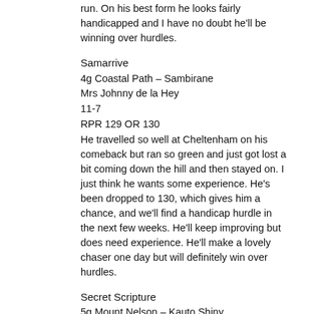run. On his best form he looks fairly handicapped and I have no doubt he'll be winning over hurdles.
Samarrive
4g Coastal Path – Sambirane
Mrs Johnny de la Hey
11-7
RPR 129 OR 130
He travelled so well at Cheltenham on his comeback but ran so green and just got lost a bit coming down the hill and then stayed on. I just think he wants some experience. He's been dropped to 130, which gives him a chance, and we'll find a handicap hurdle in the next few weeks. He'll keep improving but does need experience. He'll make a lovely chaser one day but will definitely win over hurdles.
Secret Scripture
5g Mount Nelson – Kauto Shiny
Old Gold Racing 08
P-1
RPR 87ptp OR –
An Irish point-to-point winner over three miles who will be going novice hurdling this side of Christmas. We're still learning about him but he should give his owners plenty of fun.